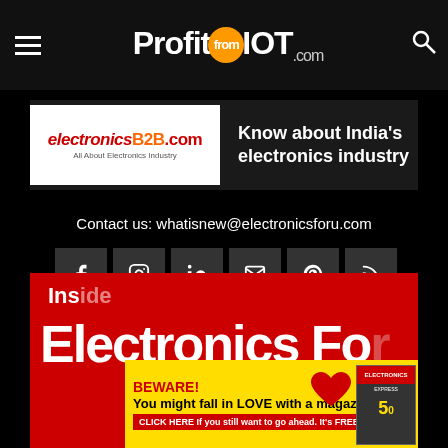ProfitfromIOT.com
[Figure (logo): ElectronicsB2B.com - All About Electronics Industry logo]
Know about India's electronics industry
Contact us: whatisnew@electronicsforu.com
[Figure (infographic): Social media icons: Facebook, Instagram, LinkedIn, Email, Pinterest, RSS, Twitter, YouTube]
[Figure (infographic): Red band section with Electronics For You magazine promotion]
[Figure (infographic): Yellow BEWARE banner: You might fall in LOVE with a magazine! CLICK HERE. If you still want to go ahead. It's FREE for now!]